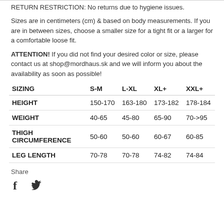RETURN RESTRICTION: No returns due to hygiene issues.
Sizes are in centimeters (cm) & based on body measurements. If you are in between sizes, choose a smaller size for a tight fit or a larger for a comfortable loose fit.
ATTENTION! If you did not find your desired color or size, please contact us at shop@mordhaus.sk and we will inform you about the availability as soon as possible!
| SIZING | S-M | L-XL | XL+ | XXL+ |
| --- | --- | --- | --- | --- |
| HEIGHT | 150-170 | 163-180 | 173-182 | 178-184 |
| WEIGHT | 40-65 | 45-80 | 65-90 | 70->95 |
| THIGH CIRCUMFERENCE | 50-60 | 50-60 | 60-67 | 60-85 |
| LEG LENGTH | 70-78 | 70-78 | 74-82 | 74-84 |
Share
[Figure (other): Facebook and Twitter social media icons]